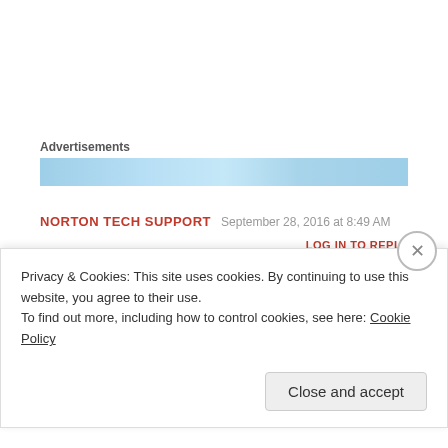Advertisements
[Figure (other): Advertisement banner image with light blue gradient background]
NORTON TECH SUPPORT   September 28, 2016 at 8:49 AM
LOG IN TO REPLY
[Figure (other): Avatar icon made of small green and teal squares/dots in a grid pattern]
Greate blog || http://www.nortonantivirustechsupportnumbers.com/
Privacy & Cookies: This site uses cookies. By continuing to use this website, you agree to their use. To find out more, including how to control cookies, see here: Cookie Policy
Close and accept